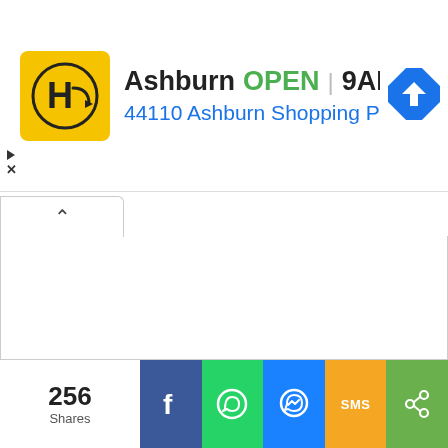[Figure (screenshot): Advertisement banner for HC (Hardcore) store in Ashburn showing OPEN status, hours 9AM-6PM, address 44110 Ashburn Shopping Plaza 1., with yellow HC logo and blue navigation icon]
256 Shares
[Figure (infographic): Social share buttons row: Facebook (blue), WhatsApp (green), Messenger (blue), SMS (orange/yellow), Share (green)]